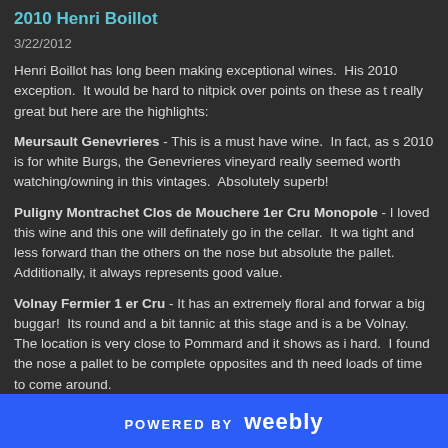2010 Henri Boillot
3/22/2012
Henri Boillot has long been making exceptional wines.  His 2010 exception.  It would be hard to nitpick over points on these as t really great but here are the highlights:
Meursault Genevrieres - This is a must have wine.  In fact, as s 2010 is for white Burgs, the Genevrieres vineyard really seemed worth watching/owning in this vintages.  Absolutely superb!
Puligny Montrachet Clos de Mouchere 1er Cru Monopole - I loved this wine and this one will definately go in the cellar.  It wa tight and less forward than the others on the nose but absolute the pallet.  Additionally, it always represents good value.
Volnay Fermier 1 er Cru - It has an extremely floral and forwar a big buggar!  Its round and a bit tannic at this stage and is a be Volnay.  The location is very close to Pommard and it shows as i hard.  I found the nose a pallet to be complete opposites and th need loads of time to come around.
Volnay Chevrets 1er Cru - This also had a beautiful floral nose
POWERED BY weebly